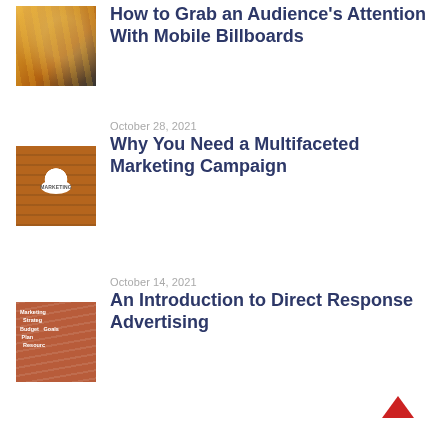[Figure (photo): Thumbnail image of city street with billboards at night]
How to Grab an Audience’s Attention With Mobile Billboards
October 28, 2021
[Figure (photo): Aerial view of marketing meeting with MARKETING circle sign]
Why You Need a Multifaceted Marketing Campaign
October 14, 2021
[Figure (photo): Marketing strategy diagram with labels: Marketing, Strategy, Budget, Goals, Plan]
An Introduction to Direct Response Advertising